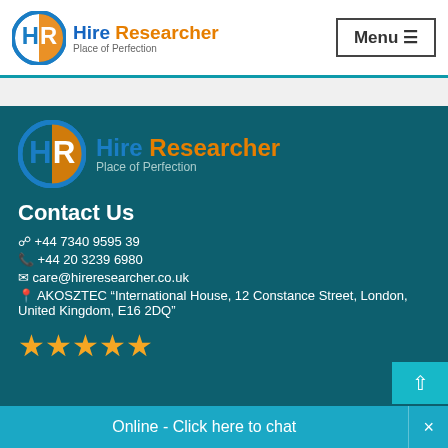[Figure (logo): Hire Researcher logo with HR circular icon and text 'Hire Researcher / Place of Perfection' in header]
Menu ☰
[Figure (logo): Hire Researcher logo with HR circular icon and text 'Hire Researcher / Place of Perfection' in footer]
Contact Us
+44 7340 9595 39
+44 20 3239 6980
care@hireresearcher.co.uk
AKOSZTEC "International House, 12 Constance Street, London, United Kingdom, E16 2DQ"
[Figure (illustration): Five gold star rating icons]
Online - Click here to chat  ×